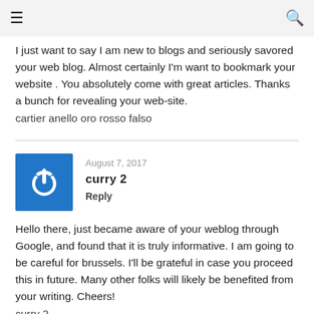≡  🔍
I just want to say I am new to blogs and seriously savored your web blog. Almost certainly I'm want to bookmark your website . You absolutely come with great articles. Thanks a bunch for revealing your web-site.
cartier anello oro rosso falso
August 7, 2017
curry 2
Reply
Hello there, just became aware of your weblog through Google, and found that it is truly informative. I am going to be careful for brussels. I'll be grateful in case you proceed this in future. Many other folks will likely be benefited from your writing. Cheers!
curry 2